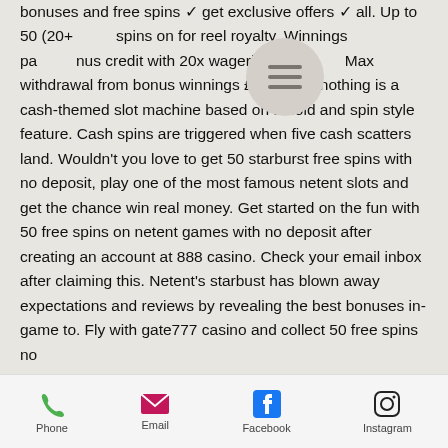bonuses and free spins ✓ get exclusive offers ✓ all. Up to 50 (20+ spins on for reel royalty. Winnings paid as bonus credit with 20x wagering requirements. Max withdrawal from bonus winnings £. Cash or nothing is a cash-themed slot machine based on a hold and spin style feature. Cash spins are triggered when five cash scatters land. Wouldn't you love to get 50 starburst free spins with no deposit, play one of the most famous netent slots and get the chance win real money. Get started on the fun with 50 free spins on netent games with no deposit after creating an account at 888 casino. Check your email inbox after claiming this. Netent's starbust has blown away expectations and reviews by revealing the best bonuses in-game to. Fly with gate777 casino and collect 50 free spins no
[Figure (other): Hamburger menu button (three horizontal lines) on a circular beige/tan background, overlaid on the text]
Phone  Email  Facebook  Instagram